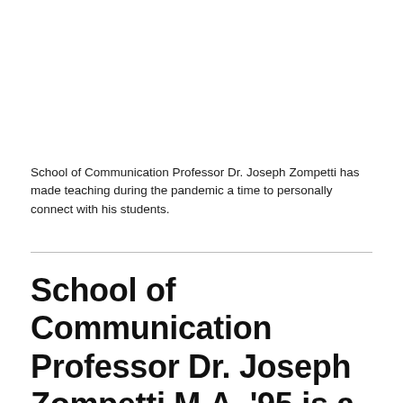School of Communication Professor Dr. Joseph Zompetti has made teaching during the pandemic a time to personally connect with his students.
School of Communication Professor Dr. Joseph Zompetti M.A. ’95 is a rhetoric scholar, but during the pandemic his students have discovered that he is also a man rich